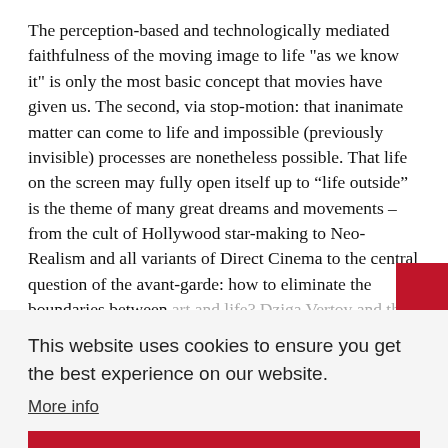The perception-based and technologically mediated faithfulness of the moving image to life "as we know it" is only the most basic concept that movies have given us. The second, via stop-motion: that inanimate matter can come to life and impossible (previously invisible) processes are nonetheless possible. That life on the screen may fully open itself up to “life outside” is the theme of many great dreams and movements – from the cult of Hollywood star-making to Neo-Realism and all variants of Direct Cinema to the central question of the avant-garde: how to eliminate the boundaries between art and life? Dziga Vertov and the Soviet film/bio- ... building of new ... conditions ... series ... covers and The Living Corpse in newly restored versions, we might also refer to the life-giving activities of film archives: they think of film restoration in terms of ‘resurrection’.
This website uses cookies to ensure you get the best experience on our website.
More info
Got it